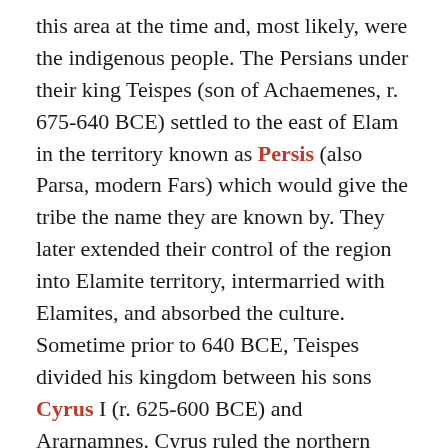this area at the time and, most likely, were the indigenous people. The Persians under their king Teispes (son of Achaemenes, r. 675-640 BCE) settled to the east of Elam in the territory known as Persis (also Parsa, modern Fars) which would give the tribe the name they are known by. They later extended their control of the region into Elamite territory, intermarried with Elamites, and absorbed the culture. Sometime prior to 640 BCE, Teispes divided his kingdom between his sons Cyrus I (r. 625-600 BCE) and Ararnamnes. Cyrus ruled the northern kingdom from Anshan and Arianamnes ruled in the south. Under the rule of Cambyses I (r. 580-559 BCE) these two kingdoms were united under rule from Anshan.